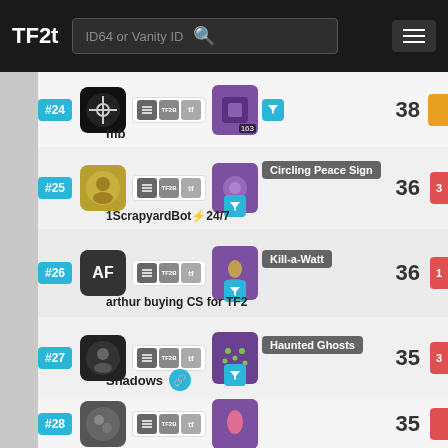TF2t | ID64 or Vanity ID search
#24 mb — item count: 38
#25 1ScrapyardBot⚡24/7 — Circling Peace Sign — item count: 36
#26 arthur buying CS for TF2 — Kill-a-Watt — item count: 36
#27 Shadows — Haunted Ghosts — item count: 35
#28 — item count: 35